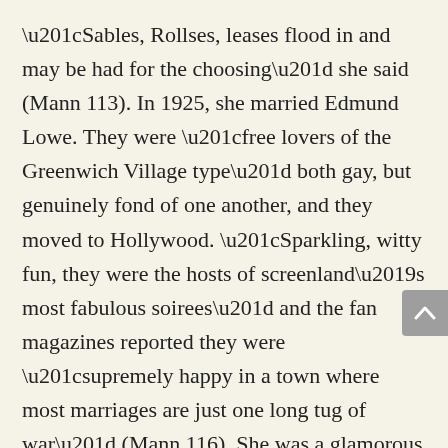“Sables, Rollses, leases flood in and may be had for the choosing” she said (Mann 113).  In 1925, she married Edmund Lowe.  They were “free lovers of the Greenwich Village type” both gay, but genuinely fond of one another, and they moved to Hollywood.  “Sparkling, witty fun, they were the hosts of screenland’s most fabulous soirees” and the fan magazines reported they were “supremely happy in a town where most marriages are just one long tug of war” (Mann 116).  She was a glamorous cinema fashion plate, and her chic, feminine style was fan magazine catnip. I love her in 1931’s Girls About Town.  In 1934, she was stricken with stomach cancer.  Only 37 years old, she died with her